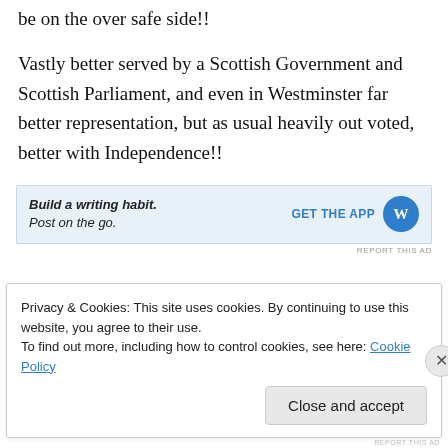be on the over safe side!!
Vastly better served by a Scottish Government and Scottish Parliament, and even in Westminster far better representation, but as usual heavily out voted, better with Independence!!
[Figure (other): WordPress app advertisement banner: 'Build a writing habit. Post on the go.' with GET THE APP button and WordPress logo]
REPORT THIS AD
Privacy & Cookies: This site uses cookies. By continuing to use this website, you agree to their use.
To find out more, including how to control cookies, see here: Cookie Policy
Close and accept